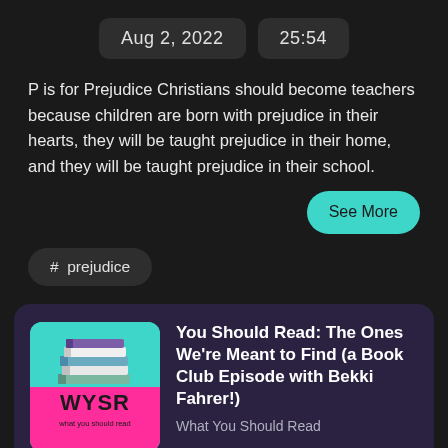Aug 2, 2022    25:54
P is for Prejudice Christians should become teachers because children are born with prejudice in their hearts, they will be taught prejudice in their home, and they will be taught prejudice in their school.
See More
# prejudice
[Figure (logo): WYSR (What You Should Read) podcast logo: teal background on top half with stacked illustrated books, hot pink bottom half with bold text WYSR and tagline 'what you should read']
You Should Read: The Ones We're Meant to Find (a Book Club Episode with Bekki Fahrer!)
What You Should Read
Play Episode